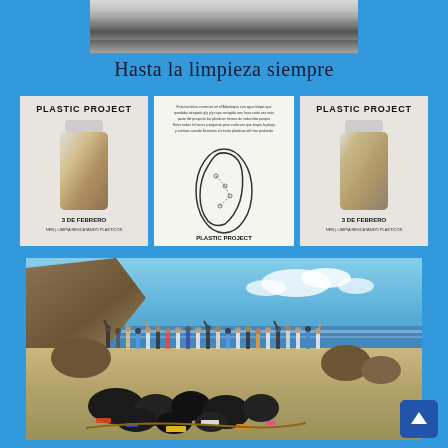[Figure (photo): Black and white abstract photo at the top center of the page]
Hasta la limpieza siempre
[Figure (photo): Three promotional posters for 'Plastic Project' event on 3 de Febrero, showing water bottles with people inside and a map of an island]
[Figure (photo): Beach cleanup photo showing a large group of people on a sandy beach with black garbage bags filled with plastic waste in the foreground, ocean and cliff in background]
[Figure (other): Navigation button with upward arrow in bottom right corner]